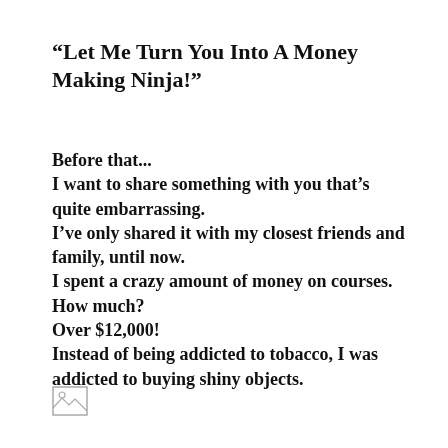“Let Me Turn You Into A Money Making Ninja!”
Before that...
I want to share something with you that’s quite embarrassing.
I’ve only shared it with my closest friends and family, until now.
I spent a crazy amount of money on courses.
How much?
Over $12,000!
Instead of being addicted to tobacco, I was addicted to buying shiny objects.
[Figure (other): Broken image placeholder icon in bottom-left area]